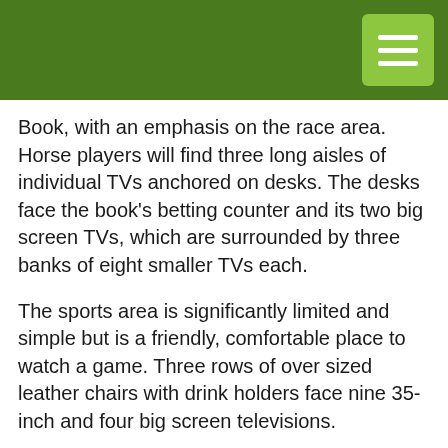Book, with an emphasis on the race area. Horse players will find three long aisles of individual TVs anchored on desks. The desks face the book's betting counter and its two big screen TVs, which are surrounded by three banks of eight smaller TVs each.
The sports area is significantly limited and simple but is a friendly, comfortable place to watch a game. Three rows of over sized leather chairs with drink holders face nine 35-inch and four big screen televisions.
Secret: The Flamingo offers decent food options for those looking for a quick bite. Johnny Rockets and L.A. Subs in the nearby food court are a couple of the choices.
Have your take in these 12 best sports books and